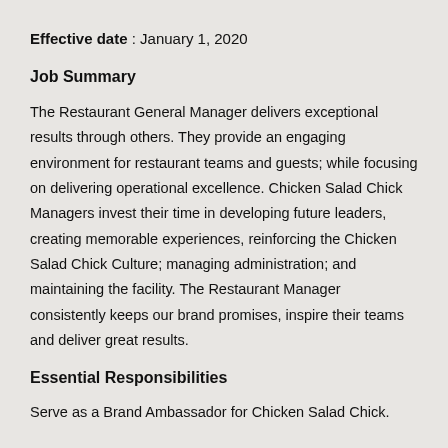Effective date : January 1, 2020
Job Summary
The Restaurant General Manager delivers exceptional results through others. They provide an engaging environment for restaurant teams and guests; while focusing on delivering operational excellence. Chicken Salad Chick Managers invest their time in developing future leaders, creating memorable experiences, reinforcing the Chicken Salad Chick Culture; managing administration; and maintaining the facility. The Restaurant Manager consistently keeps our brand promises, inspire their teams and deliver great results.
Essential Responsibilities
Serve as a Brand Ambassador for Chicken Salad Chick.